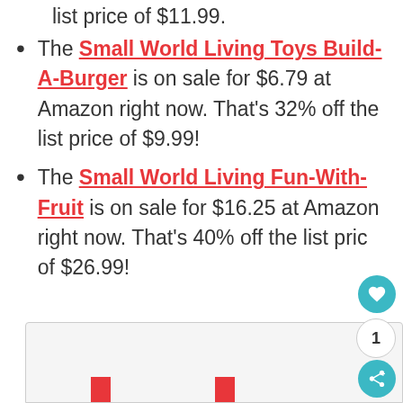list price of $11.99.
The Small World Living Toys Build-A-Burger is on sale for $6.79 at Amazon right now. That's 32% off the list price of $9.99!
The Small World Living Fun-With-Fruit is on sale for $16.25 at Amazon right now. That's 40% off the list price of $26.99!
[Figure (other): Partial advertisement image at bottom of page with two red bars visible]